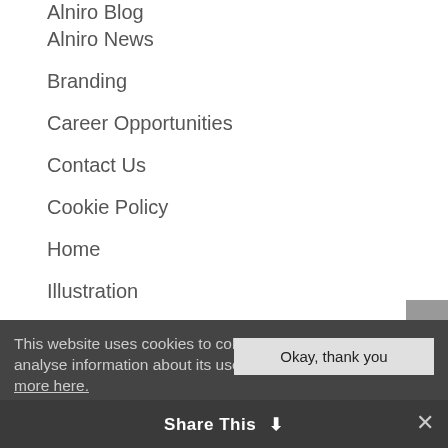Alniro Blog
Alniro News
Branding
Career Opportunities
Contact Us
Cookie Policy
Home
Illustration
Mobile
Print
Web design
WordPress website projects
This website uses cookies to collect and analyse information about its users. Read more here.
Okay, thank you
Share This
✕